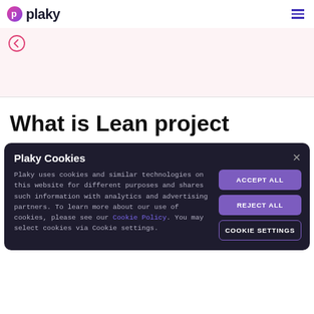plaky
[Figure (screenshot): Plaky logo with pink circle icon and bold text 'plaky', plus hamburger menu icon (purple lines) on the right]
[Figure (screenshot): Pink/light background banner section with a back arrow button (pink circle with left arrow)]
What is Lean project
Plaky Cookies

Plaky uses cookies and similar technologies on this website for different purposes and shares such information with analytics and advertising partners. To learn more about our use of cookies, please see our Cookie Policy. You may select cookies via Cookie settings.

ACCEPT ALL
REJECT ALL
COOKIE SETTINGS